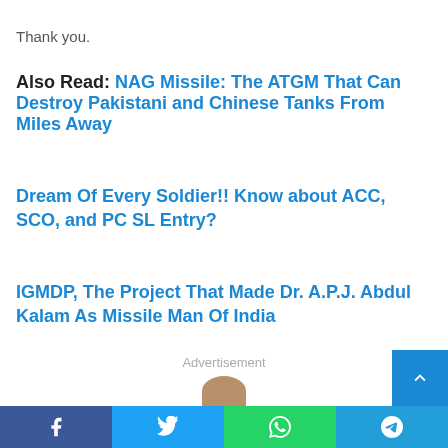Thank you.
Also Read: NAG Missile: The ATGM That Can Destroy Pakistani and Chinese Tanks From Miles Away
Dream Of Every Soldier!! Know about ACC, SCO, and PC SL Entry?
IGMDP, The Project That Made Dr. A.P.J. Abdul Kalam As Missile Man Of India
Advertisement
Facebook  Twitter  WhatsApp  Telegram